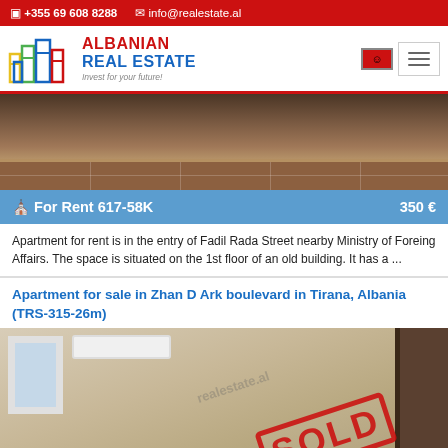☎ +355 69 608 8288  ✉ info@realestate.al
[Figure (logo): Albanian Real Estate logo with colorful building icons, red brand name 'ALBANIAN REAL ESTATE' and tagline 'Invest for your future!']
[Figure (photo): Interior room photo showing floor and walls of rental apartment]
For Rent 617-58K    350 €
Apartment for rent is in the entry of Fadil Rada Street nearby Ministry of Foreing Affairs. The space is situated on the 1st floor of an old building. It has a ...
Apartment for sale in Zhan D Ark boulevard in Tirana, Albania (TRS-315-26m)
[Figure (photo): Interior room photo of apartment for sale with AC unit, window, and SOLD stamp overlay. Watermark text realestate.al visible.]